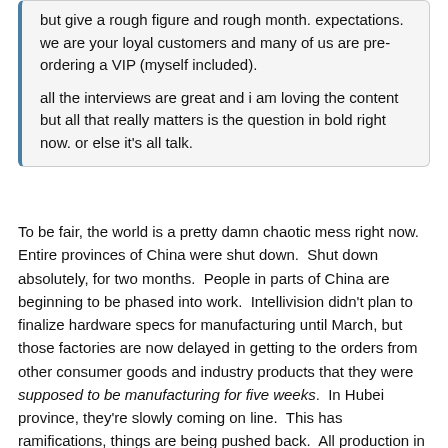but give a rough figure and rough month. expectations. we are your loyal customers and many of us are pre-ordering a VIP (myself included).

all the interviews are great and i am loving the content but all that really matters is the question in bold right now. or else it's all talk.
To be fair, the world is a pretty damn chaotic mess right now. Entire provinces of China were shut down. Shut down absolutely, for two months. People in parts of China are beginning to be phased into work. Intellivision didn't plan to finalize hardware specs for manufacturing until March, but those factories are now delayed in getting to the orders from other consumer goods and industry products that they were supposed to be manufacturing for five weeks. In Hubei province, they're slowly coming on line. This has ramifications, things are being pushed back. All production in China is